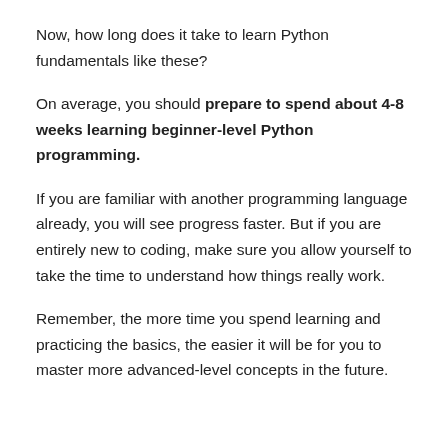Now, how long does it take to learn Python fundamentals like these?
On average, you should prepare to spend about 4-8 weeks learning beginner-level Python programming.
If you are familiar with another programming language already, you will see progress faster. But if you are entirely new to coding, make sure you allow yourself to take the time to understand how things really work.
Remember, the more time you spend learning and practicing the basics, the easier it will be for you to master more advanced-level concepts in the future.